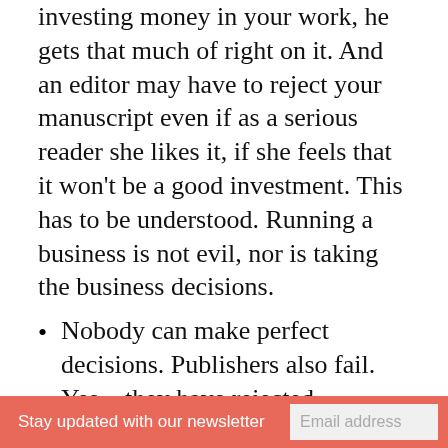investing money in your work, he gets that much of right on it. And an editor may have to reject your manuscript even if as a serious reader she likes it, if she feels that it won't be a good investment. This has to be understood. Running a business is not evil, nor is taking the business decisions.
Nobody can make perfect decisions. Publishers also fail. Yes – they have rejected manuscripts which have gone on to become the best-sellers of all times. Yes – many legendary writers have suffered in their initial days or even their entire life times due lack of recognition. But you know what! The
Stay updated with our newsletter